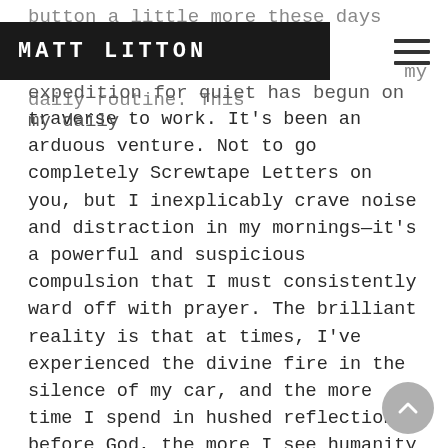MATT LITTON
button a little more these days and instill my daily routine. This expedition for quiet has begun on my daily traverse to work. It's been an arduous venture. Not to go completely Screwtape Letters on you, but I inexplicably crave noise and distraction in my mornings—it's a powerful and suspicious compulsion that I must consistently ward off with prayer. The brilliant reality is that at times, I've experienced the divine fire in the silence of my car, and the more time I spend in hushed reflection before God, the more I see humanity the way He does. I'm finding more patience and grace in my everyday life. I'm focusing less on my needs and more on the needs of others. With this daily measure of quiet, I move to a completely different rhythm than the rest of the world—and it's much different than the cadence emanating from our "earpieces." God is like a supernatural radio station, just waiting for us to find the discipline